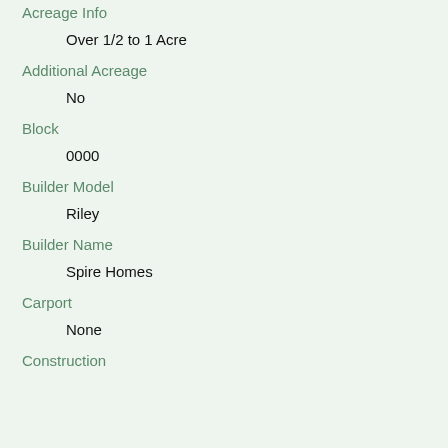Acreage Info
Over 1/2 to 1 Acre
Additional Acreage
No
Block
0000
Builder Model
Riley
Builder Name
Spire Homes
Carport
None
Construction